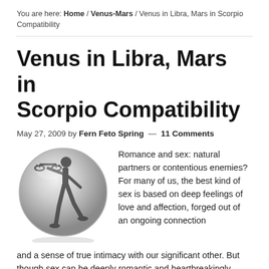You are here: Home / Venus-Mars / Venus in Libra, Mars in Scorpio Compatibility
Venus in Libra, Mars in Scorpio Compatibility
May 27, 2009 by Fern Feto Spring — 11 Comments
[Figure (illustration): Circular glossy button with Libra zodiac symbol — a figure holding a set of scales, rendered in dark grey silhouette on a silver/grey gradient sphere background.]
Romance and sex: natural partners or contentious enemies? For many of us, the best kind of sex is based on deep feelings of love and affection, forged out of an ongoing connection and a sense of true intimacy with our significant other. But though sex can be deeply romantic and heartbreakingly loving, it can also be funny, messy,